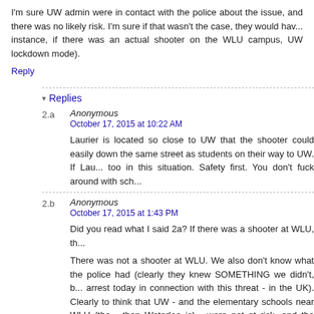I'm sure UW admin were in contact with the police about the issue, and there was no likely risk. I'm sure if that wasn't the case, they would hav... instance, if there was an actual shooter on the WLU campus, UW... lockdown mode).
Reply
▾ Replies
2.a  Anonymous
October 17, 2015 at 10:22 AM
Laurier is located so close to UW that the shooter could easily... down the same street as students on their way to UW. If Lau... too in this situation. Safety first. You don't fuck around with sch...
2.b  Anonymous
October 17, 2015 at 1:43 PM
Did you read what I said 2a? If there was a shooter at WLU, th...
There was not a shooter at WLU. We also don't know what... the police had (clearly they knew SOMETHING we didn't, b... arrest today in connection with this threat - in the UK). Clearly... to think that UW - and the elementary schools near WLU (tha... than Waterloo is) - were not at risk, and the admin agreed with...